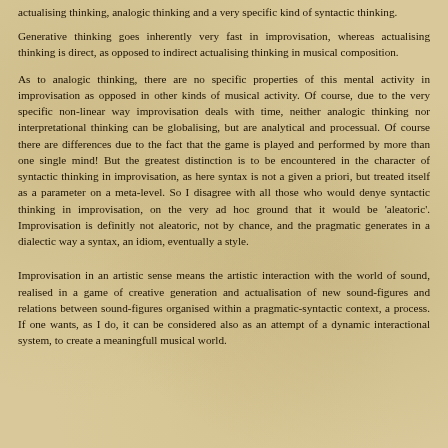actualising thinking, analogic thinking and a very specific kind of syntactic thinking.
Generative thinking goes inherently very fast in improvisation, whereas actualising thinking is direct, as opposed to indirect actualising thinking in musical composition.
As to analogic thinking, there are no specific properties of this mental activity in improvisation as opposed in other kinds of musical activity. Of course, due to the very specific non-linear way improvisation deals with time, neither analogic thinking nor interpretational thinking can be globalising, but are analytical and processual. Of course there are differences due to the fact that the game is played and performed by more than one single mind! But the greatest distinction is to be encountered in the character of syntactic thinking in improvisation, as here syntax is not a given a priori, but treated itself as a parameter on a meta-level. So I disagree with all those who would denye syntactic thinking in improvisation, on the very ad hoc ground that it would be 'aleatoric'. Improvisation is definitly not aleatoric, not by chance, and the pragmatic generates in a dialectic way a syntax, an idiom, eventually a style.
Improvisation in an artistic sense means the artistic interaction with the world of sound, realised in a game of creative generation and actualisation of new sound-figures and relations between sound-figures organised within a pragmatic-syntactic context, a process. If one wants, as I do, it can be considered also as an attempt of a dynamic interactional system, to create a meaningfull musical world.